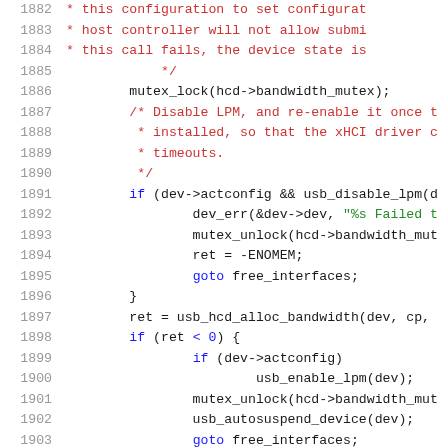[Figure (screenshot): Source code listing showing C code for USB device configuration, lines 1882-1903, with syntax highlighting: line numbers in gray, comments in red, strings in green, keywords in blue, regular code in dark/black.]